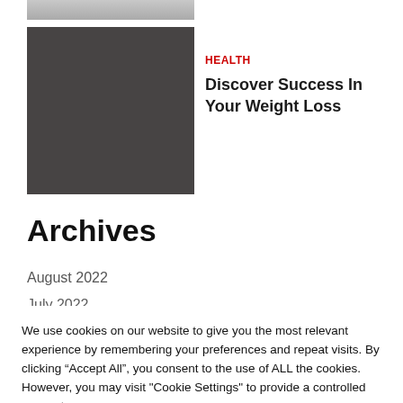[Figure (photo): Partial top image strip, cropped at top of page]
[Figure (photo): Dark gray square thumbnail image for article]
HEALTH
Discover Success In Your Weight Loss
Archives
August 2022
July 2022
We use cookies on our website to give you the most relevant experience by remembering your preferences and repeat visits. By clicking “Accept All”, you consent to the use of ALL the cookies. However, you may visit "Cookie Settings" to provide a controlled consent.